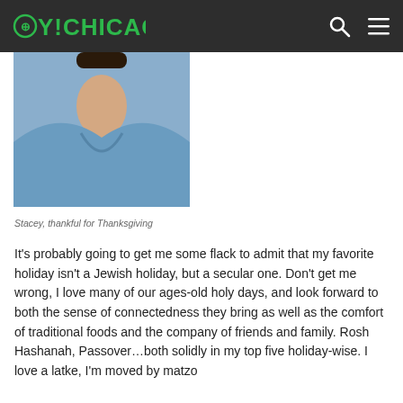OY!CHICAGO
[Figure (photo): Photo of a person wearing a blue top, cropped to show neck/chest area]
Stacey, thankful for Thanksgiving
It's probably going to get me some flack to admit that my favorite holiday isn't a Jewish holiday, but a secular one. Don't get me wrong, I love many of our ages-old holy days, and look forward to both the sense of connectedness they bring as well as the comfort of traditional foods and the company of friends and family. Rosh Hashanah, Passover…both solidly in my top five holiday-wise. I love a latke, I'm moved by matzo